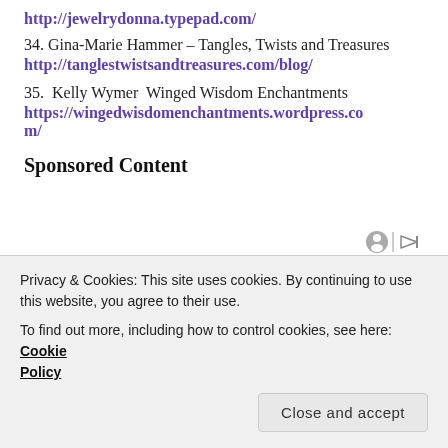http://jewelrydonna.typepad.com/
34. Gina-Marie Hammer – Tangles, Twists and Treasures
http://tanglestwistsandtreasures.com/blog/
35.  Kelly Wymer  Winged Wisdom Enchantments
https://wingedwisdomenchantments.wordpress.com/
Sponsored Content
[Figure (photo): Photo of a blonde woman looking down, partial view, with plant in background]
Privacy & Cookies: This site uses cookies. By continuing to use this website, you agree to their use.
To find out more, including how to control cookies, see here: Cookie Policy